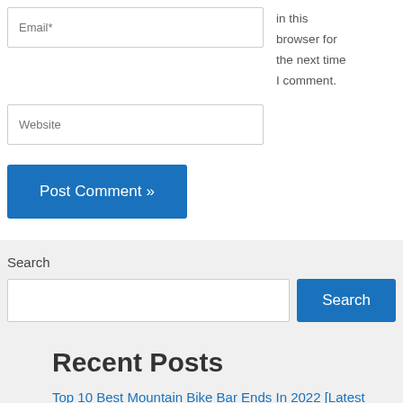Email*
in this browser for the next time I comment.
Website
Post Comment »
Search
Search
Recent Posts
Top 10 Best Mountain Bike Bar Ends In 2022 [Latest Picks]